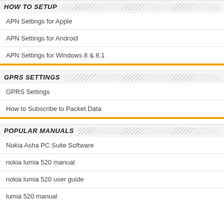HOW TO SETUP
APN Settings for Apple
APN Settings for Android
APN Settings for Windows 8 & 8.1
GPRS SETTINGS
GPRS Settings
How to Subscribe to Packet Data
POPULAR MANUALS
Nokia Asha PC Suite Software
nokia lumia 520 manual
nokia lumia 520 user guide
lumia 520 manual